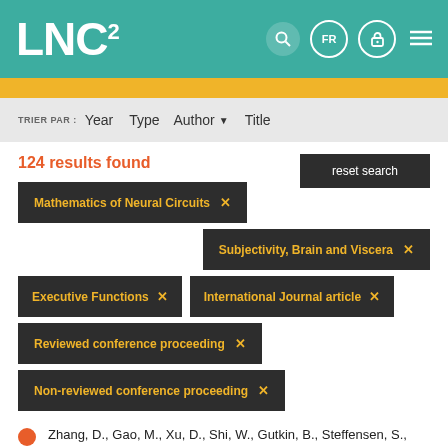LNC²
TRIER PAR: Year  Type  Author  Title
124 results found
Mathematics of Neural Circuits ×
Subjectivity, Brain and Viscera ×
Executive Functions ×
International Journal article ×
Reviewed conference proceeding ×
Non-reviewed conference proceeding ×
reset search
Zhang, D., Gao, M., Xu, D., Shi, W., Gutkin, B., Steffensen, S., Lukas, R. & Wu, J. (2012). Impact of prefrontal cortex in